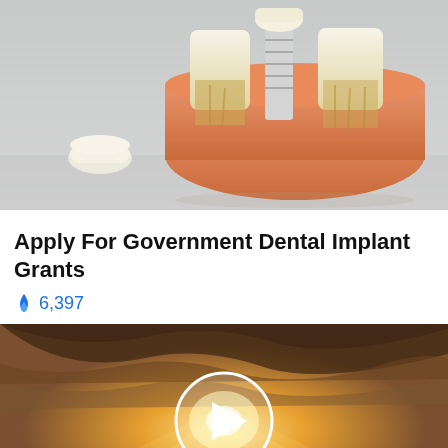[Figure (photo): Dental implant model showing cross-section of teeth with implant screw, with a separate dental crown beside it, on a light gray reflective surface]
Apply For Government Dental Implant Grants
🔥 6,397
[Figure (photo): Video thumbnail showing golden sunset rays breaking through dramatic clouds, with a white circular play button overlay in the center]